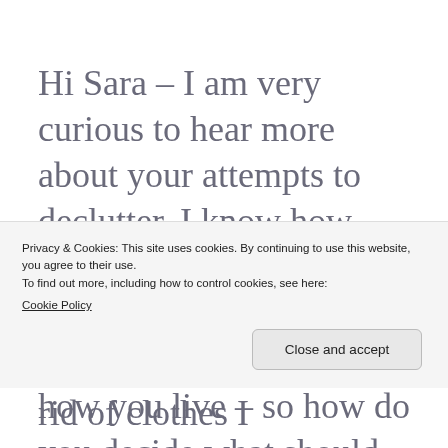Hi Sara – I am very curious to hear more about your attempts to declutter. I know how frugal you are and saving things in case they are needed must be part of how you live – so how do you decide what should go? I have about 1000 notebook tabs and plastic sleeves on my office shelves
Privacy & Cookies: This site uses cookies. By continuing to use this website, you agree to their use.
To find out more, including how to control cookies, see here:
Cookie Policy
clothes – I hate getting rid of clothes I